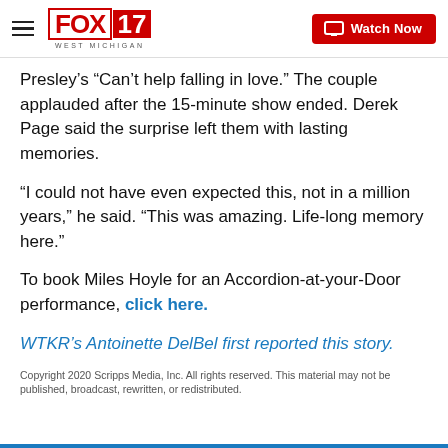FOX 17 WEST MICHIGAN | Watch Now
Presley's “Can’t help falling in love.” The couple applauded after the 15-minute show ended. Derek Page said the surprise left them with lasting memories.
“I could not have even expected this, not in a million years,” he said. “This was amazing. Life-long memory here.”
To book Miles Hoyle for an Accordion-at-your-Door performance, click here.
WTKR’s Antoinette DelBel first reported this story.
Copyright 2020 Scripps Media, Inc. All rights reserved. This material may not be published, broadcast, rewritten, or redistributed.